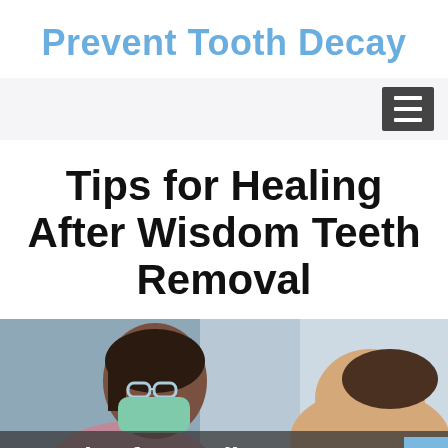Prevent Tooth Decay
Tips for Healing After Wisdom Teeth Removal
[Figure (photo): Dental professional wearing mask and glasses examining or treating a patient, with text overlay reading 'Tips for Healing' at the bottom of the image]
Tips for Healing